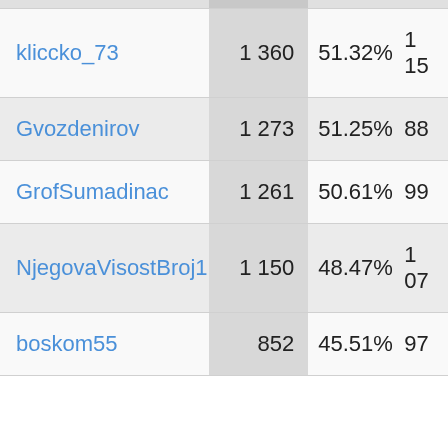| Username | Score | Percentage | Extra |
| --- | --- | --- | --- |
| kliccko_73 | 1 360 | 51.32% | 1 15… |
| Gvozdenirov | 1 273 | 51.25% | 88… |
| GrofSumadinac | 1 261 | 50.61% | 99… |
| NjegovaVisostBroj1 | 1 150 | 48.47% | 1 07… |
| boskom55 | 852 | 45.51% | 97… |